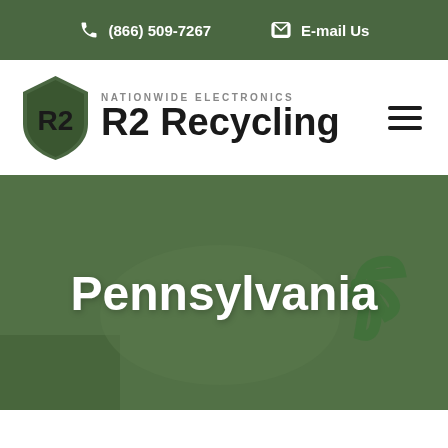(866) 509-7267  E-mail Us
[Figure (logo): R2 Recycling - Nationwide Electronics logo with green shield icon]
Pennsylvania
[Figure (photo): Green-tinted photo of electronics recycling facility with recycling symbol]